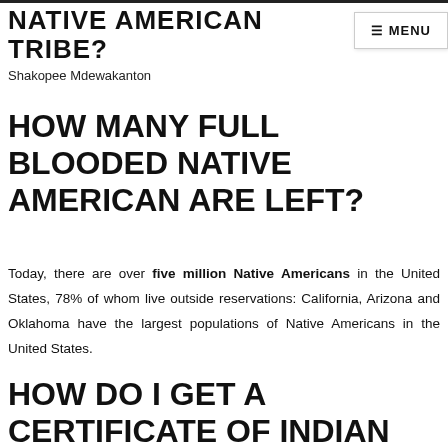NATIVE AMERICAN TRIBE?
Shakopee Mdewakanton
HOW MANY FULL BLOODED NATIVE AMERICAN ARE LEFT?
Today, there are over five million Native Americans in the United States, 78% of whom live outside reservations: California, Arizona and Oklahoma have the largest populations of Native Americans in the United States.
HOW DO I GET A CERTIFICATE OF INDIAN